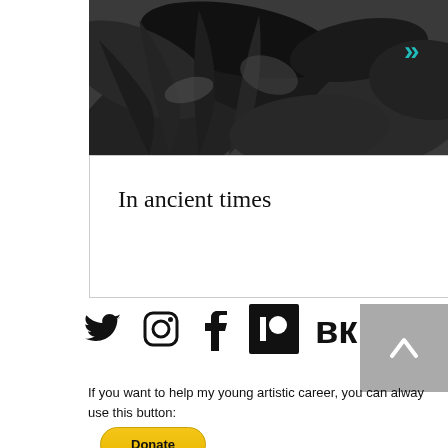[Figure (photo): Black and white photograph of tropical leaves including palm fronds and broad leaves filling the frame]
In ancient times
[Figure (infographic): Social media icons row: Twitter bird, Instagram camera, Facebook f, Patreon logo (black box), VK logo]
If you want to help my young artistic career, you can alway use this button:
[Figure (other): Yellow PayPal Donate button]